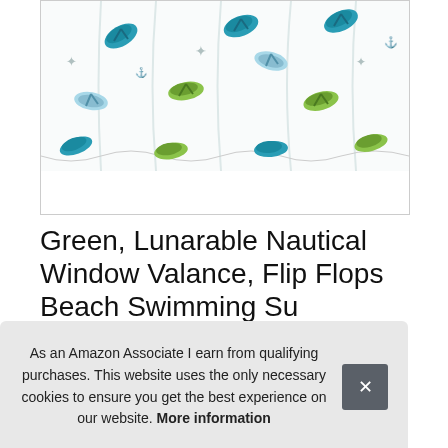[Figure (photo): Product photo of a window valance with flip flop / beach sandal pattern in teal, green, and blue on white background with nautical motifs (starfish, anchors)]
Green, Lunarable Nautical Window Valance, Flip Flops Beach Swimming Su 54 Be
As an Amazon Associate I earn from qualifying purchases. This website uses the only necessary cookies to ensure you get the best experience on our website. More information